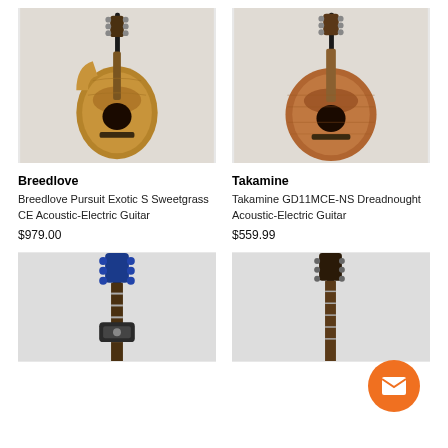[Figure (photo): Breedlove acoustic-electric guitar on a stand against a light gray background]
[Figure (photo): Takamine dreadnought acoustic-electric guitar on a stand against a light gray background]
Breedlove
Takamine
Breedlove Pursuit Exotic S Sweetgrass CE Acoustic-Electric Guitar
Takamine GD11MCE-NS Dreadnought Acoustic-Electric Guitar
$979.00
$559.99
[Figure (photo): Partial view of a blue electric guitar on a stand, cropped at bottom of page]
[Figure (photo): Partial view of a guitar on a stand, cropped at bottom of page, with orange chat button overlay]